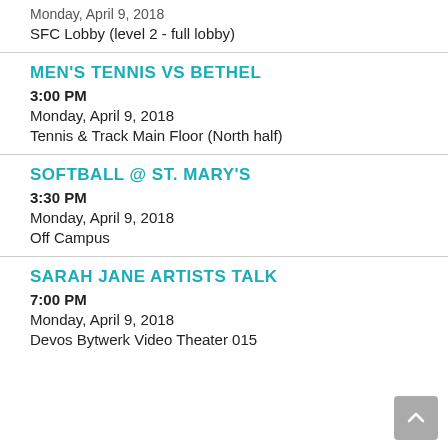Monday, April 9, 2018
SFC Lobby (level 2 - full lobby)
MEN'S TENNIS VS BETHEL
3:00 PM
Monday, April 9, 2018
Tennis & Track Main Floor (North half)
SOFTBALL @ ST. MARY'S
3:30 PM
Monday, April 9, 2018
Off Campus
SARAH JANE ARTISTS TALK
7:00 PM
Monday, April 9, 2018
Devos Bytwerk Video Theater 015